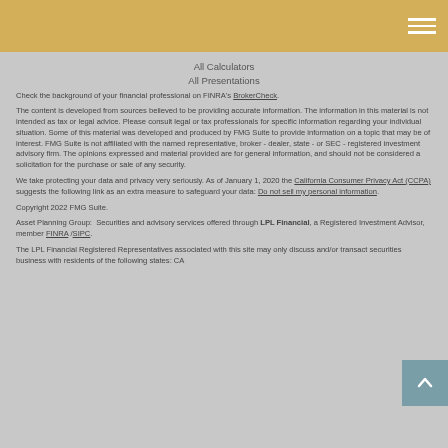All Calculators
All Presentations
Check the background of your financial professional on FINRA's BrokerCheck.
The content is developed from sources believed to be providing accurate information. The information in this material is not intended as tax or legal advice. Please consult legal or tax professionals for specific information regarding your individual situation. Some of this material was developed and produced by FMG Suite to provide information on a topic that may be of interest. FMG Suite is not affiliated with the named representative, broker - dealer, state - or SEC - registered investment advisory firm. The opinions expressed and material provided are for general information, and should not be considered a solicitation for the purchase or sale of any security.
We take protecting your data and privacy very seriously. As of January 1, 2020 the California Consumer Privacy Act (CCPA) suggests the following link as an extra measure to safeguard your data: Do not sell my personal information.
Copyright 2022 FMG Suite.
Asset Planning Group:  Securities and advisory services offered through LPL Financial, a Registered Investment Advisor, member FINRA /SIPC.
The LPL Financial Registered Representatives associated with this site may only discuss and/or transact securities business with residents of the following states: CA